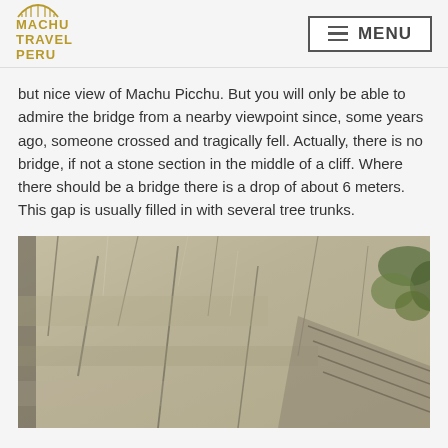MACHU TRAVEL PERU — MENU
but nice view of Machu Picchu. But you will only be able to admire the bridge from a nearby viewpoint since, some years ago, someone crossed and tragically fell. Actually, there is no bridge, if not a stone section in the middle of a cliff. Where there should be a bridge there is a drop of about 6 meters. This gap is usually filled in with several tree trunks.
[Figure (photo): Close-up photograph of a steep rocky cliff face with ancient stone steps or a path cut into the rock, with some green vegetation visible on the right side.]